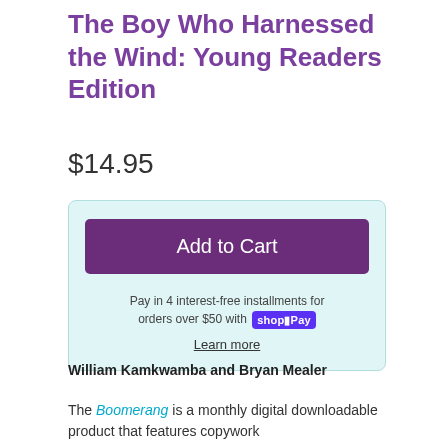The Boy Who Harnessed the Wind: Young Readers Edition
$14.95
Add to Cart
Pay in 4 interest-free installments for orders over $50 with shop Pay
Learn more
William Kamkwamba and Bryan Mealer
The Boomerang is a monthly digital downloadable product that features copywork and dictation sentences from specific products...